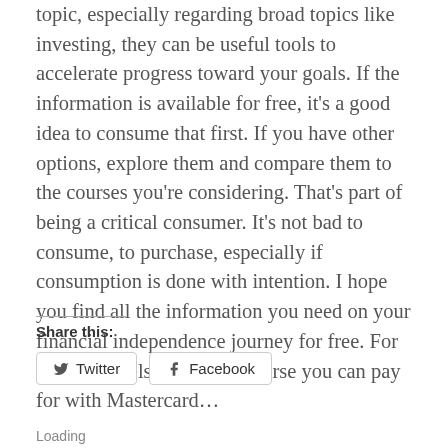topic, especially regarding broad topics like investing, they can be useful tools to accelerate progress toward your goals. If the information is available for free, it's a good idea to consume that first. If you have other options, explore them and compare them to the courses you're considering. That's part of being a critical consumer. It's not bad to consume, to purchase, especially if consumption is done with intention. I hope you find all the information you need on your financial independence journey for free. For everything else, there's a course you can pay for with Mastercard…
Share this:
Twitter
Facebook
Loading